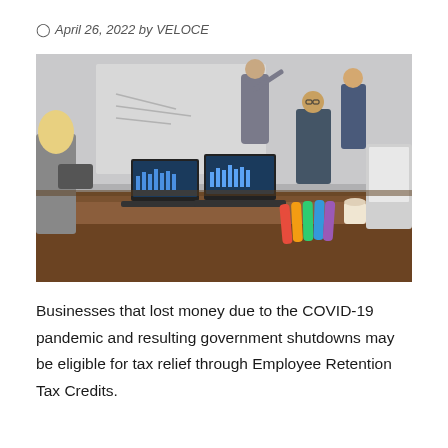April 26, 2022 by VELOCE
[Figure (photo): Business meeting scene with people seated around a wooden conference table, laptops open showing charts, one person standing at a whiteboard in the background]
Businesses that lost money due to the COVID-19 pandemic and resulting government shutdowns may be eligible for tax relief through Employee Retention Tax Credits.